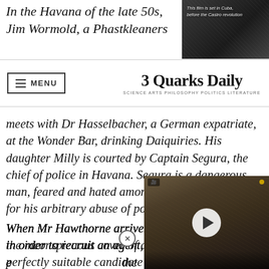In the Havana of the late 50s, Jim Wormold, a Phastkleaners
[Figure (screenshot): Dark screenshot of a film still with text overlay reading 'This film is set in Cuba, before the Castro revolution']
3 Quarks Daily — SCIENCE ARTS PHILOSOPHY POLITICS LITERATURE
meets with Dr Hasselbacher, a German expatriate, at the Wonder Bar, drinking Daiquiries. His daughter Milly is courted by Captain Segura, the chief of police in Havana. Segura is a dangerous man, feared and hated among the local population for his arbitrary abuse of power.
When Mr Hawthorne arrives in Cuba in order to recruit an agent, he sets his eyes on Wormold. With the inconspicuous cover of a vacuum cleaner salesman, a perfectly suitable candidate for a spy, someone unconcerned by politics or scruples, who needs a chance to better his finances
[Figure (screenshot): Embedded video player showing a close-up wildlife or nature footage, with a white play button overlay]